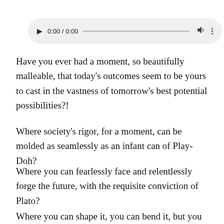[Figure (other): Audio player UI showing play button, time display 0:00 / 0:00, progress bar, volume icon, and more options icon on a light gray rounded rectangle background.]
Have you ever had a moment, so beautifully malleable, that today's outcomes seem to be yours to cast in the vastness of tomorrow's best potential possibilities?!
Where society's rigor, for a moment, can be molded as seamlessly as an infant can of Play-Doh?
Where you can fearlessly face and relentlessly forge the future, with the requisite conviction of Plato?
Where you can shape it, you can bend it, but you